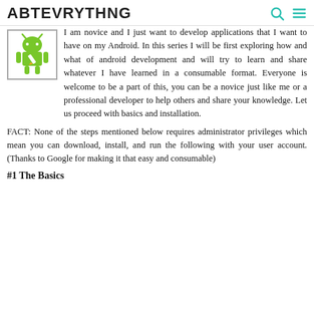ABTEVRYTHNG
[Figure (logo): Android robot mascot logo with pencil icon inside a bordered box]
I am novice and I just want to develop applications that I want to have on my Android. In this series I will be first exploring how and what of android development and will try to learn and share whatever I have learned in a consumable format. Everyone is welcome to be a part of this, you can be a novice just like me or a professional developer to help others and share your knowledge. Let us proceed with basics and installation.
FACT: None of the steps mentioned below requires administrator privileges which mean you can download, install, and run the following with your user account. (Thanks to Google for making it that easy and consumable)
#1 The Basics